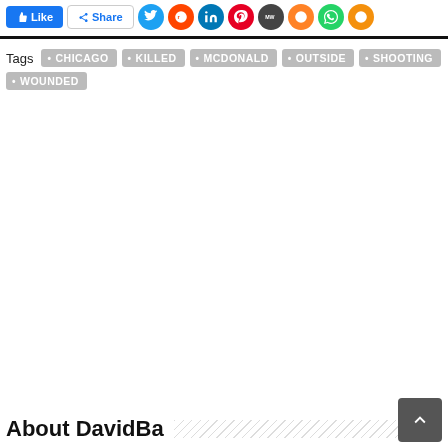[Figure (screenshot): Social sharing buttons row: Facebook Like (blue), Facebook Share, Twitter (blue circle), Reddit (orange circle), LinkedIn (blue circle), Pinterest (red circle), MeWe (dark circle), Mix (orange circle), WhatsApp (green circle), and another icon (orange circle)]
Tags  • CHICAGO  • KILLED  • MCDONALD  • OUTSIDE  • SHOOTING  • WOUNDED
About DavidBa